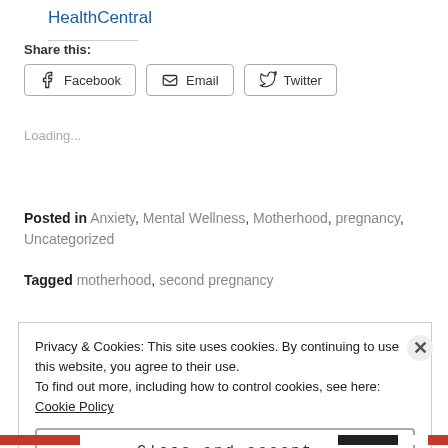HealthCentral
Share this:
Facebook  Email  Twitter
Loading...
Posted in Anxiety, Mental Wellness, Motherhood, pregnancy, Uncategorized
Tagged motherhood, second pregnancy
Privacy & Cookies: This site uses cookies. By continuing to use this website, you agree to their use.
To find out more, including how to control cookies, see here: Cookie Policy
Close and accept